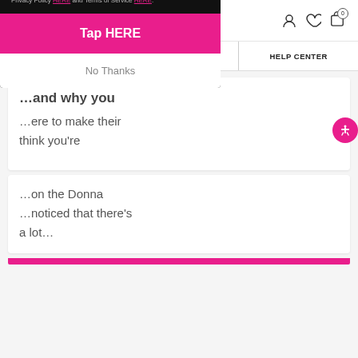donna bella hair
SHOP HAIR | GUIDE ME | HELP CENTER
[Figure (screenshot): Donna Bella Hair website popup modal on dark background. Modal text: 'f your purchase', 'clusive deals when you signup for texts', marketing consent fine print, 'Tap HERE' pink button, 'No Thanks' link. Background shows partial page text: 'and why you', 'ere to make their', 'think you’re', 'on the Donna', 'noticed that there’s a lot...']